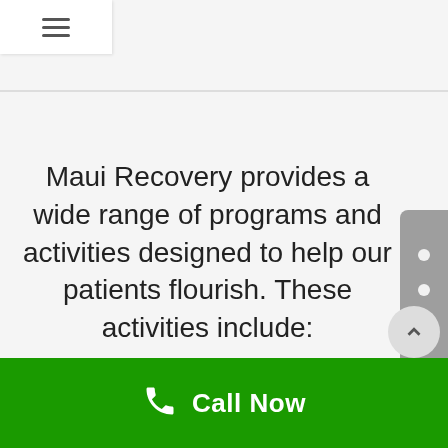≡
Maui Recovery provides a wide range of programs and activities designed to help our patients flourish. These activities include:
Call Now